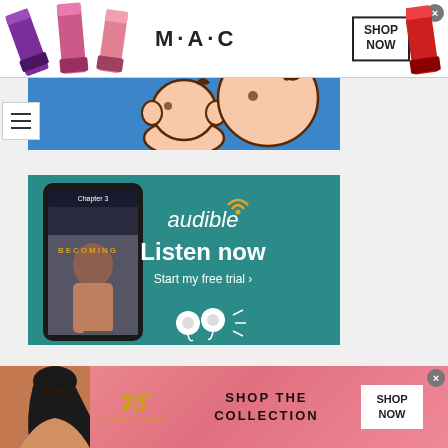[Figure (screenshot): MAC Cosmetics advertisement banner showing lipsticks in purple, pink, and red colors with MAC logo and 'SHOP NOW' button]
[Figure (screenshot): Cartoon character (round-headed child figure) on blue background]
[Figure (screenshot): Audible advertisement on teal background showing a smartphone with 'Becoming' audiobook and earbuds, with text 'audible', 'Listen now', 'Start my free trial >']
[Figure (screenshot): Victoria's Secret advertisement on pink gradient background with model, Victoria's Secret logo, 'SHOP THE COLLECTION' text and 'SHOP NOW' button]